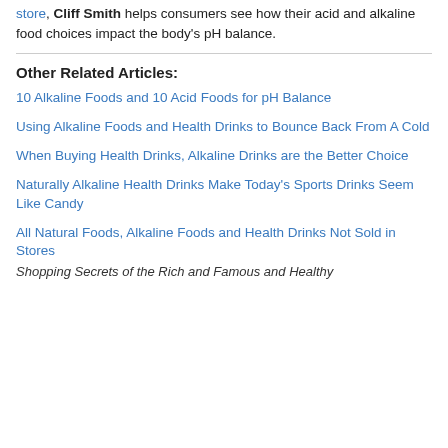store, Cliff Smith helps consumers see how their acid and alkaline food choices impact the body's pH balance.
Other Related Articles:
10 Alkaline Foods and 10 Acid Foods for pH Balance
Using Alkaline Foods and Health Drinks to Bounce Back From A Cold
When Buying Health Drinks, Alkaline Drinks are the Better Choice
Naturally Alkaline Health Drinks Make Today's Sports Drinks Seem Like Candy
All Natural Foods, Alkaline Foods and Health Drinks Not Sold in Stores
Shopping Secrets of the Rich and Famous and Healthy